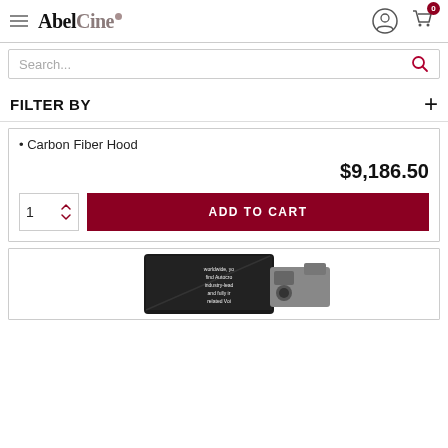AbelCine navigation bar with hamburger menu, logo, user icon, and cart (0)
Search...
FILTER BY
Carbon Fiber Hood
$9,186.50
1  ADD TO CART
[Figure (photo): Partial view of a teleprompter/autocue device with camera mounted, showing the bottom portion of a product listing card]